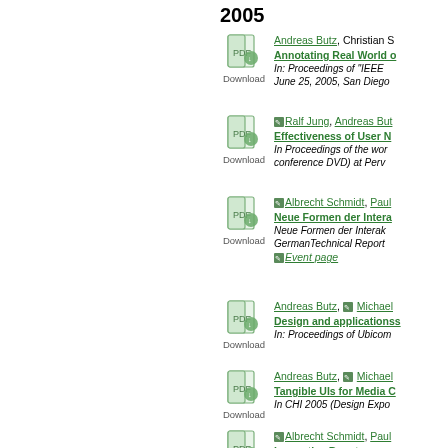2005
Andreas Butz, Christian S. Annotating Real World o. In: Proceedings of "IEEE June 25, 2005, San Diego
Ralf Jung, Andreas But. Effectiveness of User N. In Proceedings of the workshop (on conference DVD) at Perv
Albrecht Schmidt, Paul. Neue Formen der Interaktion. Neue Formen der Interak. GermanTechnical Report. Event page
Andreas Butz, Michael. Design and applicationss. In: Proceedings of Ubicom
Andreas Butz, Michael. Tangible UIs for Media C. In CHI 2005 (Design Expe
Albrecht Schmidt, Paul. Innovative Benutzungsss. Neue Formen der Interak